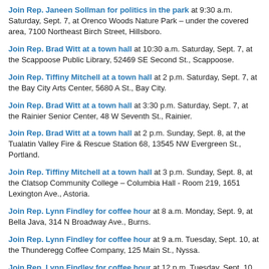Join Rep. Janeen Sollman for politics in the park at 9:30 a.m. Saturday, Sept. 7, at Orenco Woods Nature Park – under the covered area, 7100 Northeast Birch Street, Hillsboro.
Join Rep. Brad Witt at a town hall at 10:30 a.m. Saturday, Sept. 7, at the Scappoose Public Library, 52469 SE Second St., Scappoose.
Join Rep. Tiffiny Mitchell at a town hall at 2 p.m. Saturday, Sept. 7, at the Bay City Arts Center, 5680 A St., Bay City.
Join Rep. Brad Witt at a town hall at 3:30 p.m. Saturday, Sept. 7, at the Rainier Senior Center, 48 W Seventh St., Rainier.
Join Rep. Brad Witt at a town hall at 2 p.m. Sunday, Sept. 8, at the Tualatin Valley Fire & Rescue Station 68, 13545 NW Evergreen St., Portland.
Join Rep. Tiffiny Mitchell at a town hall at 3 p.m. Sunday, Sept. 8, at the Clatsop Community College – Columbia Hall - Room 219, 1651 Lexington Ave., Astoria.
Join Rep. Lynn Findley for coffee hour at 8 a.m. Monday, Sept. 9, at Bella Java, 314 N Broadway Ave., Burns.
Join Rep. Lynn Findley for coffee hour at 9 a.m. Tuesday, Sept. 10, at the Thunderegg Coffee Company, 125 Main St., Nyssa.
Join Rep. Lynn Findley for coffee hour at 12 p.m. Tuesday, Sept. 10, at Chabelitas Taqueria, 148 A St. W, Vale.